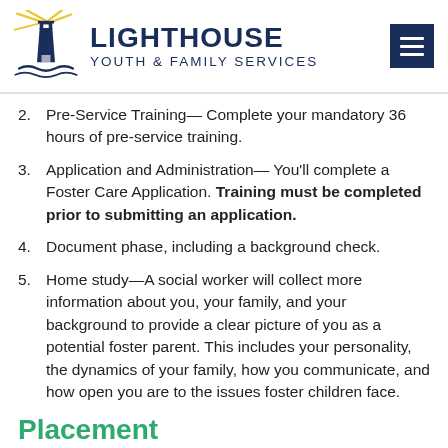[Figure (logo): Lighthouse Youth & Family Services logo with lighthouse SVG icon and organization name]
2. Pre-Service Training— Complete your mandatory 36 hours of pre-service training.
3. Application and Administration— You'll complete a Foster Care Application. Training must be completed prior to submitting an application.
4. Document phase, including a background check.
5. Home study—A social worker will collect more information about you, your family, and your background to provide a clear picture of you as a potential foster parent. This includes your personality, the dynamics of your family, how you communicate, and how open you are to the issues foster children face.
Placement